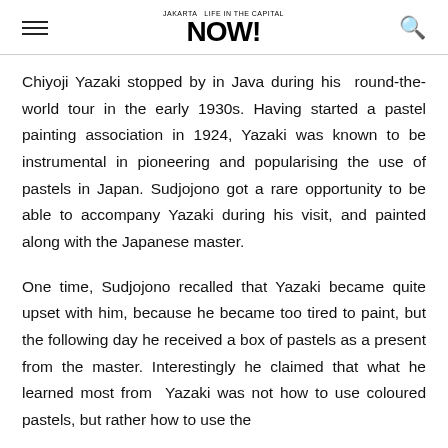NOW! Jakarta Life in the Capital
Chiyoji Yazaki stopped by in Java during his round-the-world tour in the early 1930s. Having started a pastel painting association in 1924, Yazaki was known to be instrumental in pioneering and popularising the use of pastels in Japan. Sudjojono got a rare opportunity to be able to accompany Yazaki during his visit, and painted along with the Japanese master.
One time, Sudjojono recalled that Yazaki became quite upset with him, because he became too tired to paint, but the following day he received a box of pastels as a present from the master. Interestingly he claimed that what he learned most from Yazaki was not how to use coloured pastels, but rather how to use the